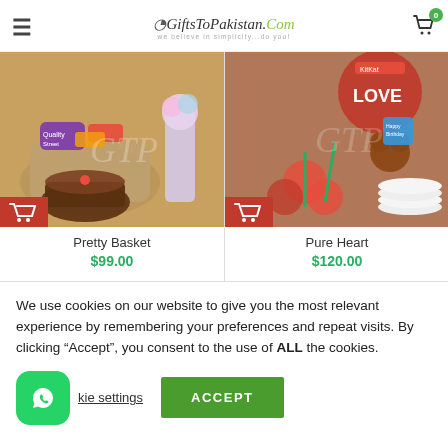GiftsToPakistan.Com - we believe in simplicity...do you!
[Figure (photo): Product photo of Pretty Basket gift set with chocolates, cake, and flowers]
Pretty Basket
$99.00
[Figure (photo): Product photo of Pure Heart gift set with LOVE balloon, KitKat, flowers, and plates]
Pure Heart
$120.00
We use cookies on our website to give you the most relevant experience by remembering your preferences and repeat visits. By clicking “Accept”, you consent to the use of ALL the cookies.
kie settings
ACCEPT